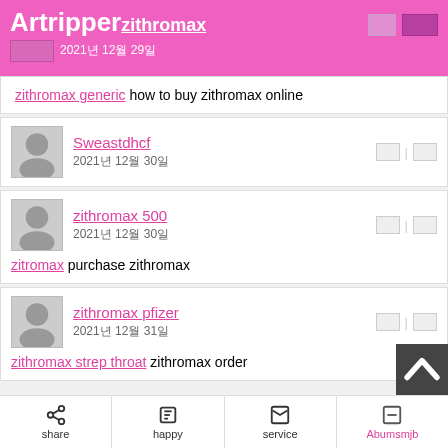Artripper zithromax 2021년 12월 29일
zithromax generic how to buy zithromax online
Sweastdhcf 2021년 12월 30일
zithromax 500 2021년 12월 30일
zitromax purchase zithromax
zithromax pfizer 2021년 12월 31일
zithromax strep throat zithromax order
share  happy  service